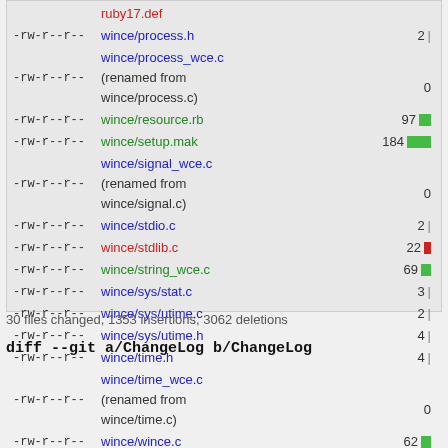-rw-r--r-- ruby17.def
-rw-r--r-- wince/process.h  2 |
-rw-r--r-- wince/process_wce.c (renamed from wince/process.c)  0
-rw-r--r-- wince/resource.rb  97
-rw-r--r-- wince/setup.mak  184
-rw-r--r-- wince/signal_wce.c (renamed from wince/signal.c)  0
-rw-r--r-- wince/stdio.c  2 |
-rw-r--r-- wince/stdlib.c  22 |
-rw-r--r-- wince/string_wce.c  69
-rw-r--r-- wince/sys/stat.c  3 |
-rw-r--r-- wince/sys/utime.c  2 |
-rw-r--r-- wince/sys/utime.h  4 |
-rw-r--r-- wince/time.h  4 |
-rw-r--r-- wince/time_wce.c (renamed from wince/time.c)  0
-rw-r--r-- wince/wince.c  62
-rw-r--r-- wince/wince.h  39
-rw-r--r-- wince/wincemain.c  3 |
30 files changed, 1353 insertions, 3062 deletions
diff --git a/ChangeLog b/ChangeLog